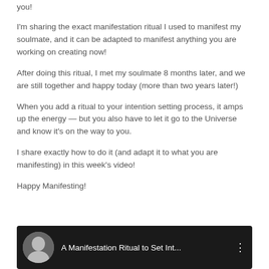you!
I'm sharing the exact manifestation ritual I used to manifest my soulmate, and it can be adapted to manifest anything you are working on creating now!
After doing this ritual, I met my soulmate 8 months later, and we are still together and happy today (more than two years later!)
When you add a ritual to your intention setting process, it amps up the energy — but you also have to let it go to the Universe and know it's on the way to you.
I share exactly how to do it (and adapt it to what you are manifesting) in this week's video!
Happy Manifesting!
[Figure (screenshot): Video thumbnail showing a woman's headshot in a circle on a dark background with the title 'A Manifestation Ritual to Set Int...' and a three-dot menu icon]